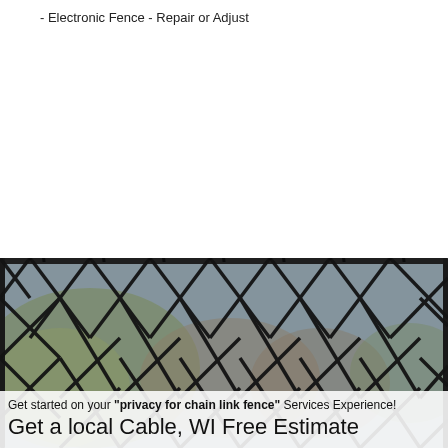- Electronic Fence - Repair or Adjust
[Figure (photo): Close-up photo of a dark chain link fence with blurred green and brown background]
Get started on your "privacy for chain link fence" Services Experience!
Get a local Cable, WI Free Estimate